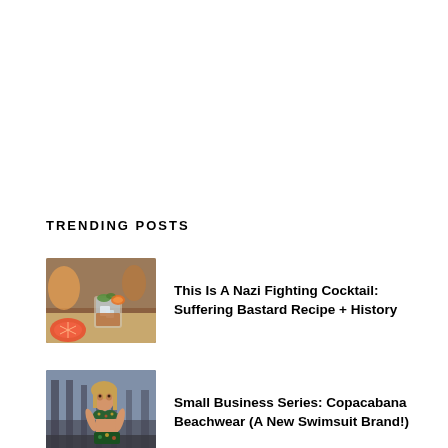TRENDING POSTS
[Figure (photo): A cocktail glass with dark amber drink, ice, and citrus garnish on a wooden surface with grapefruit slices nearby]
This Is A Nazi Fighting Cocktail: Suffering Bastard Recipe + History
[Figure (photo): A woman in a tropical print bikini posing on a beach boardwalk]
Small Business Series: Copacabana Beachwear (A New Swimsuit Brand!)